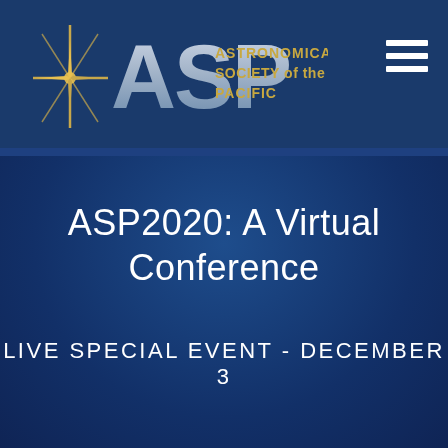[Figure (logo): ASP (Astronomical Society of the Pacific) logo with star/compass icon and text 'ASTRONOMICAL SOCIETY of the PACIFIC' in gold]
ASP2020: A Virtual Conference
LIVE SPECIAL EVENT - DECEMBER 3